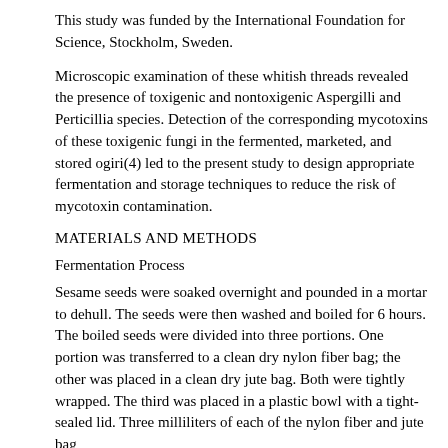This study was funded by the International Foundation for Science, Stockholm, Sweden.
Microscopic examination of these whitish threads revealed the presence of toxigenic and nontoxigenic Aspergilli and Perticillia species. Detection of the corresponding mycotoxins of these toxigenic fungi in the fermented, marketed, and stored ogiri(4) led to the present study to design appropriate fermentation and storage techniques to reduce the risk of mycotoxin contamination.
MATERIALS AND METHODS
Fermentation Process
Sesame seeds were soaked overnight and pounded in a mortar to dehull. The seeds were then washed and boiled for 6 hours. The boiled seeds were divided into three portions. One portion was transferred to a clean dry nylon fiber bag; the other was placed in a clean dry jute bag. Both were tightly wrapped. The third was placed in a plastic bowl with a tight-sealed lid. Three milliliters of each of the nylon fiber and jute bag